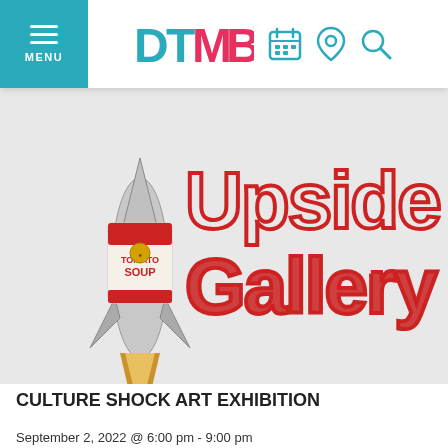MENU | DTMB logo with calendar, location, and search icons
[Figure (illustration): Upside Gallery logo with rocket carrying a tomato soup can, with large red outlined text reading 'Upside Gallery']
CULTURE SHOCK ART EXHIBITION
September 2, 2022 @ 6:00 pm - 9:00 pm